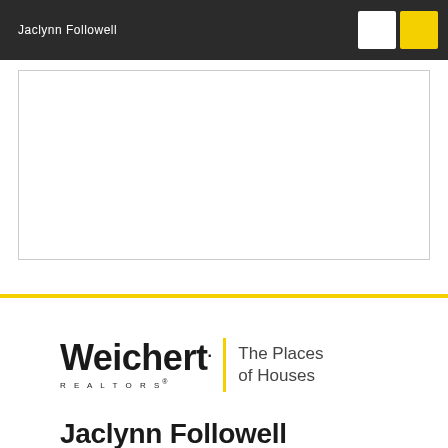Jaclynn Followell
[Figure (other): Empty white content box with light gray border]
[Figure (logo): Weichert Realtors logo with yellow vertical bar divider and tagline 'The Places of Houses']
Jaclynn Followell